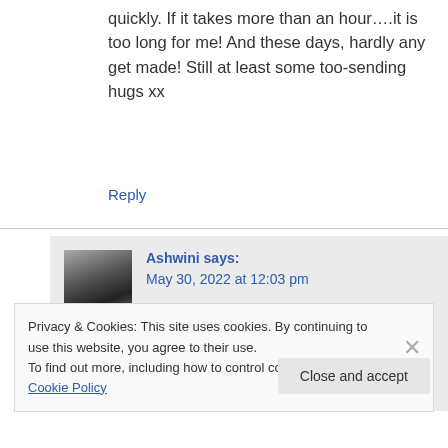quickly. If it takes more than an hour….it is too long for me! And these days, hardly any get made! Still at least some too-sending hugs xx
Reply
Ashwini says: May 30, 2022 at 12:03 pm
Thank you so much for stopping by
Privacy & Cookies: This site uses cookies. By continuing to use this website, you agree to their use.
To find out more, including how to control cookies, see here: Cookie Policy
Close and accept